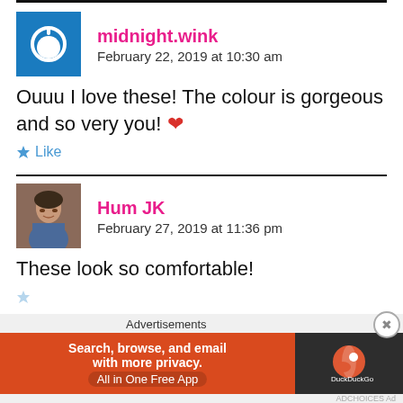midnight.wink
February 22, 2019 at 10:30 am
Ouuu I love these! The colour is gorgeous and so very you! ❤
Like
Hum JK
February 27, 2019 at 11:36 pm
These look so comfortable!
Advertisements
Search, browse, and email with more privacy. All in One Free App